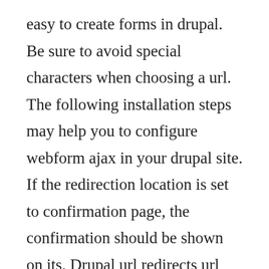easy to create forms in drupal. Be sure to avoid special characters when choosing a url. The following installation steps may help you to configure webform ajax in your drupal site. If the redirection location is set to confirmation page, the confirmation should be shown on its. Drupal url redirects url redirects are used when content on your web site is moved from one location to another. Manage url redirects using redirect module in drupal 8. Osu drupal 7 has a few different ways of uploading files depending on what processes